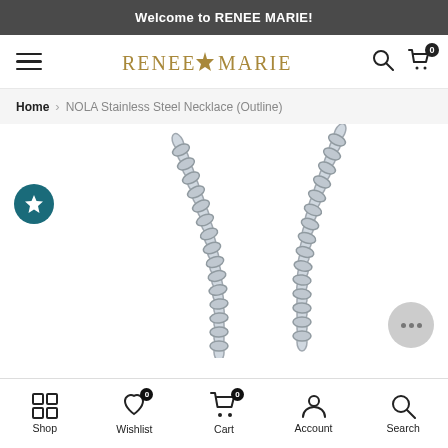Welcome to RENEE MARIE!
[Figure (logo): Renee Marie brand logo with decorative star/compass icon in gold color]
Home > NOLA Stainless Steel Necklace (Outline)
[Figure (photo): Close-up product photo of a stainless steel chain necklace on white background, showing two strands of silver cable chain links]
Shop | Wishlist | Cart | Account | Search